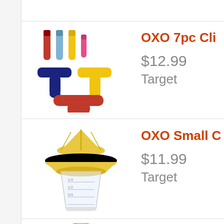[Figure (photo): OXO 7pc clip set product image showing colorful bag clips in red, blue, yellow and pink, plus T-shaped clips in navy and yellow, and a wide red clip]
OXO 7pc Cli
$12.99
Target
[Figure (photo): OXO Small Citrus Juicer product image showing a yellow juicer cone on a clear measuring cup base]
OXO Small C
$11.99
Target
[Figure (photo): OXO Softworks Lemon/Lime Squeezer product image showing yellow handheld squeezer]
OXO Softwo
Squeezer